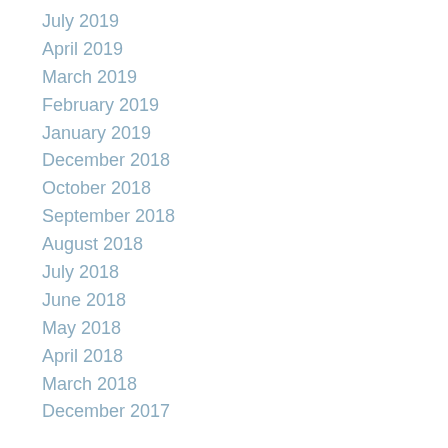July 2019
April 2019
March 2019
February 2019
January 2019
December 2018
October 2018
September 2018
August 2018
July 2018
June 2018
May 2018
April 2018
March 2018
December 2017